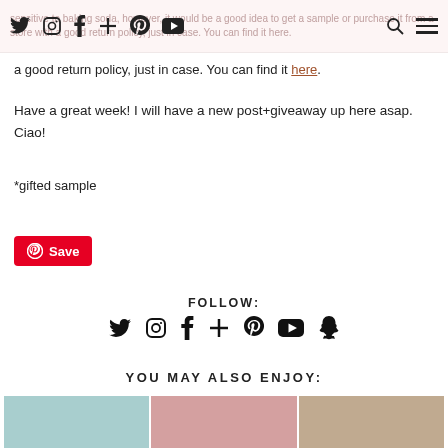sensitive to baking soda, however, it would be a good idea to get a sample or purchase it from a store with a good return policy, just in case. You can find it here.
Have a great week! I will have a new post+giveaway up here asap. Ciao!
*gifted sample
[Figure (other): Pinterest Save button (red background, white text, Pinterest circle-P icon)]
FOLLOW:
[Figure (other): Social media icons row: Twitter, Instagram, Facebook, Bloglovin, Pinterest, YouTube, Snapchat]
YOU MAY ALSO ENJOY:
[Figure (other): Three thumbnail images in a row: teal product photo, woman with dark hair on pink background, woman close-up on neutral background]